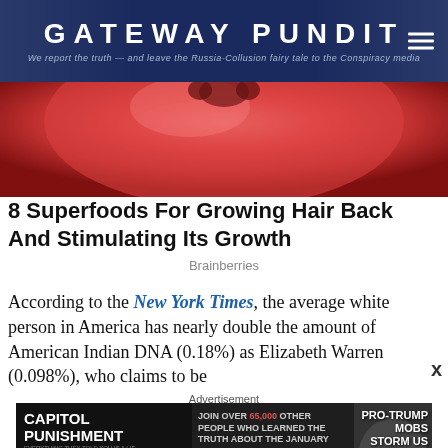GATEWAY PUNDIT — We report the truth — and leave the Russia-Collusion fairy tale to the Conspiracy media
[Figure (photo): Close-up photo of a red tomato or similar red fruit/vegetable]
8 Superfoods For Growing Hair Back And Stimulating Its Growth
Brainberries
According to the New York Times, the average white person in America has nearly double the amount of American Indian DNA (0.18%) as Elizabeth Warren (0.098%), who claims to be
Advertisement
[Figure (screenshot): Capitol Punishment advertisement — Join over 65,000 other people who learned the truth about the January 6th Capitol. Watch Now. Pro-Trump Mobs Storm US Capitol.]